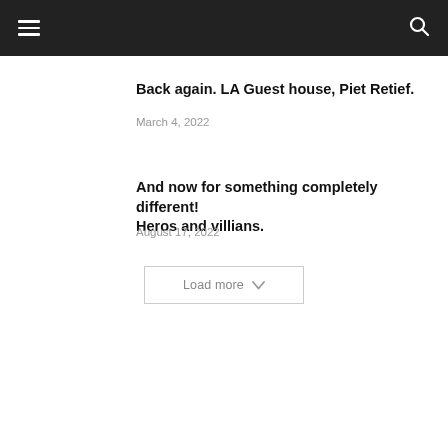Back again. LA Guest house, Piet Retief.
March 4, 2022
And now for something completely different! Heros and villians.
August 17, 2022
Load more